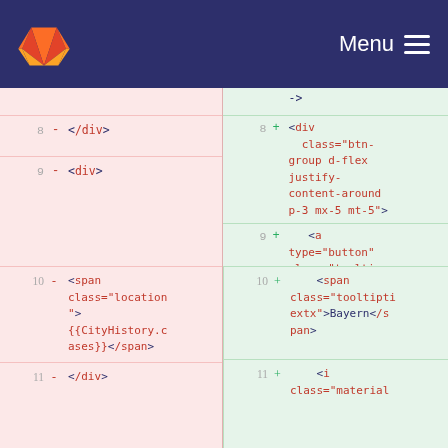GitLab navigation bar with logo and Menu button
[Figure (screenshot): Code diff view showing two columns: left (removed lines, pink background) and right (added lines, green background). Left side shows lines 8-11 with HTML elements being removed: </div>, <div>, <span class="location">{{CityHistory.cases}}</span>, </div>. Right side shows lines 8-11 with new HTML: <div class="btn-group d-flex justify-content-around p-3 mx-5 mt-5">, <a type="button" class="tooltipx" @click="NewCasesHisBayern">, <span class="tooltiptextx">Bayern</span>, <i class="material..."]